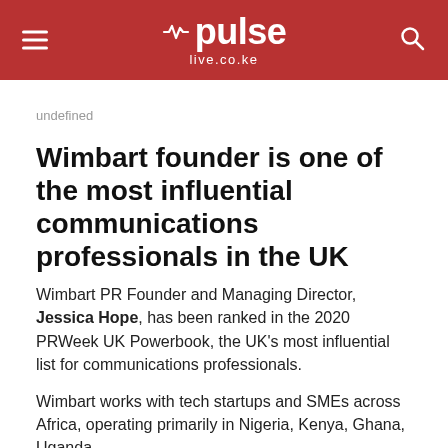pulse live.co.ke
undefined
Wimbart founder is one of the most influential communications professionals in the UK
Wimbart PR Founder and Managing Director, Jessica Hope, has been ranked in the 2020 PRWeek UK Powerbook, the UK's most influential list for communications professionals.
Wimbart works with tech startups and SMEs across Africa, operating primarily in Nigeria, Kenya, Ghana, Uganda,